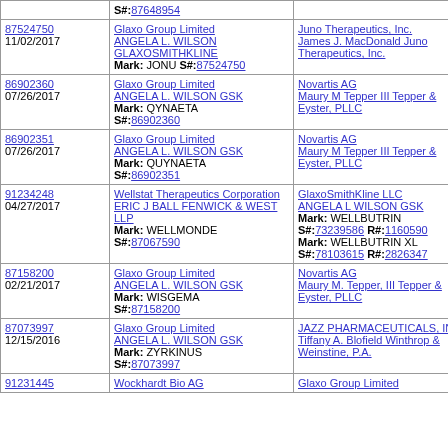| Serial/Date | Plaintiff | Defendant |
| --- | --- | --- |
| S#:87648954 |  |  |
| 87524750
11/02/2017 | Glaxo Group Limited ANGELA L. WILSON GLAXOSMITHKLINE Mark: JONU S#:87524750 | Juno Therapeutics, Inc. James J. MacDonald Juno Therapeutics, Inc. |
| 86902360
07/26/2017 | Glaxo Group Limited ANGELA L. WILSON GSK Mark: QYNAETA S#:86902360 | Novartis AG Maury M Tepper III Tepper & Eyster, PLLC |
| 86902351
07/26/2017 | Glaxo Group Limited ANGELA L. WILSON GSK Mark: QUYNAETA S#:86902351 | Novartis AG Maury M Tepper III Tepper & Eyster, PLLC |
| 91234248
04/27/2017 | Wellstat Therapeutics Corporation ERIC J BALL FENWICK & WEST LLP Mark: WELLMONDE S#:87067590 | GlaxoSmithKline LLC ANGELA L WILSON GSK Mark: WELLBUTRIN S#:73239586 R#:1160590 Mark: WELLBUTRIN XL S#:78103615 R#:2826347 |
| 87158200
02/21/2017 | Glaxo Group Limited ANGELA L. WILSON GSK Mark: WISGEMA S#:87158200 | Novartis AG Maury M. Tepper, III Tepper & Eyster, PLLC |
| 87073997
12/15/2016 | Glaxo Group Limited ANGELA L. WILSON GSK Mark: ZYRKINUS S#:87073997 | JAZZ PHARMACEUTICALS, INC. Tiffany A. Blofield Winthrop & Weinstine, P.A. |
| 91231445 | Wockhardt Bio AG | Glaxo Group Limited |